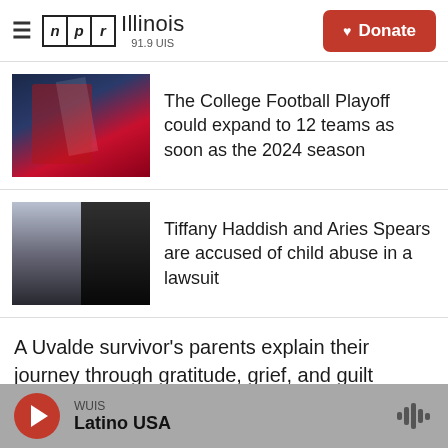NPR Illinois 91.9 UIS
The College Football Playoff could expand to 12 teams as soon as the 2024 season
Tiffany Haddish and Aries Spears are accused of child abuse in a lawsuit
A Uvalde survivor's parents explain their journey through gratitude, grief, and guilt
WUIS Latino USA